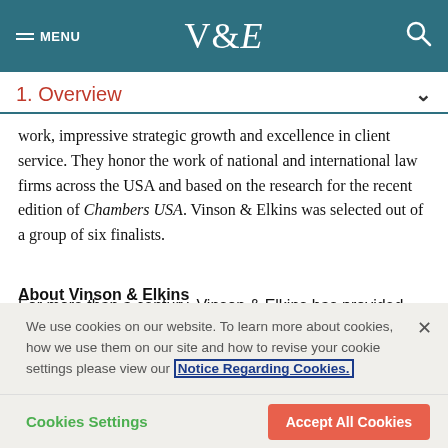V&E
1. Overview
work, impressive strategic growth and excellence in client service. They honor the work of national and international law firms across the USA and based on the research for the recent edition of Chambers USA. Vinson & Elkins was selected out of a group of six finalists.
About Vinson & Elkins
For more than a century, Vinson & Elkins has provided outstanding client service across important industries that drive
We use cookies on our website. To learn more about cookies, how we use them on our site and how to revise your cookie settings please view our Notice Regarding Cookies.
Cookies Settings
Accept All Cookies